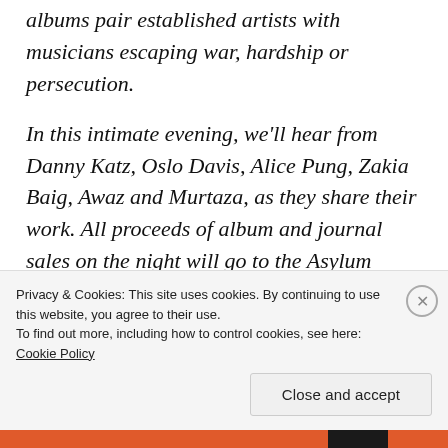albums pair established artists with musicians escaping war, hardship or persecution.

In this intimate evening, we'll hear from Danny Katz, Oslo Davis, Alice Pung, Zakia Baig, Awaz and Murtaza, as they share their work. All proceeds of album and journal sales on the night will go to the Asylum Seeker Resource Centre.
Privacy & Cookies: This site uses cookies. By continuing to use this website, you agree to their use. To find out more, including how to control cookies, see here: Cookie Policy

Close and accept